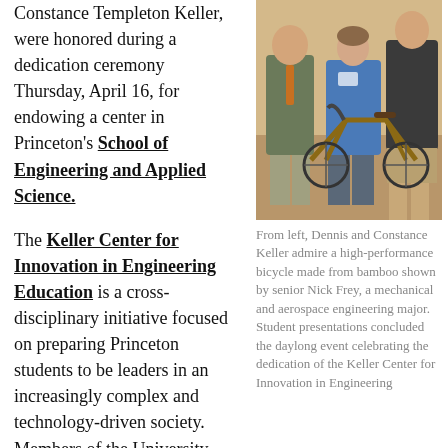Constance Templeton Keller, were honored during a dedication ceremony Thursday, April 16, for endowing a center in Princeton's School of Engineering and Applied Science.
[Figure (photo): Photo of Dennis and Constance Keller admiring a high-performance bicycle made from bamboo, shown by senior Nick Frey at the Keller Center dedication event.]
From left, Dennis and Constance Keller admire a high-performance bicycle made from bamboo shown by senior Nick Frey, a mechanical and aerospace engineering major. Student presentations concluded the daylong event celebrating the dedication of the Keller Center for Innovation in Engineering
The Keller Center for Innovation in Engineering Education is a cross-disciplinary initiative focused on preparing Princeton students to be leaders in an increasingly complex and technology-driven society. Members of the University community